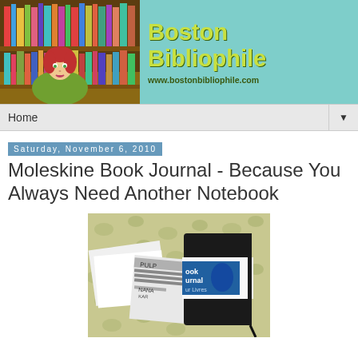[Figure (illustration): Boston Bibliophile blog header banner with cartoon woman with red hair in front of colorful bookshelf, teal background with site name and URL]
Home ▼
Saturday, November 6, 2010
Moleskine Book Journal - Because You Always Need Another Notebook
[Figure (photo): Photo of Moleskine Book Journal with papers and bookmarks on a floral-patterned background]